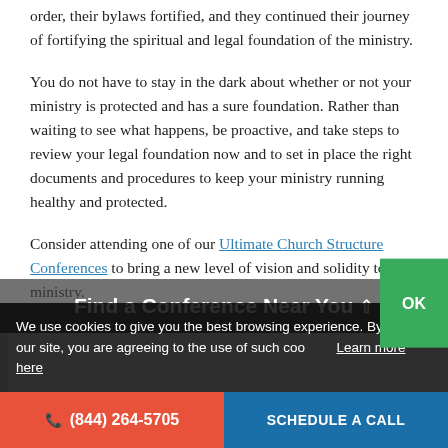order, their bylaws fortified, and they continued their journey of fortifying the spiritual and legal foundation of the ministry.
You do not have to stay in the dark about whether or not your ministry is protected and has a sure foundation. Rather than waiting to see what happens, be proactive, and take steps to review your legal foundation now and to set in place the right documents and procedures to keep your ministry running healthy and protected.
Consider attending one of our Ultimate Church Structure Conferences to bring a new level of vision and solidity to your ministry.
We use cookies to give you the best browsing experience. By using our site, you are agreeing to the use of such cookies. Learn more here
Find a Conference Near You
☎ (844) 264-5705
SCHEDULE A CALL